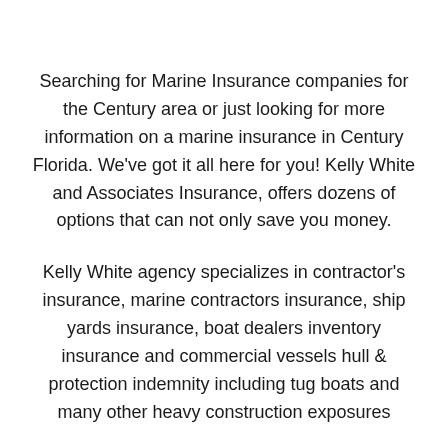Searching for Marine Insurance companies for the Century area or just looking for more information on a marine insurance in Century Florida. We've got it all here for you! Kelly White and Associates Insurance, offers dozens of options that can not only save you money.
Kelly White agency specializes in contractor's insurance, marine contractors insurance, ship yards insurance, boat dealers inventory insurance and commercial vessels hull & protection indemnity including tug boats and many other heavy construction exposures